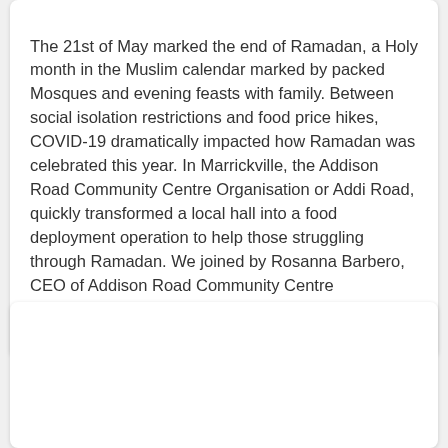The 21st of May marked the end of Ramadan, a Holy month in the Muslim calendar marked by packed Mosques and evening feasts with family. Between social isolation restrictions and food price hikes, COVID-19 dramatically impacted how Ramadan was celebrated this year. In Marrickville, the Addison Road Community Centre Organisation or Addi Road, quickly transformed a local hall into a food deployment operation to help those struggling through Ramadan. We joined by Rosanna Barbero, CEO of Addison Road Community Centre Organisation.
[Figure (photo): Empty white card/image placeholder below the text card]